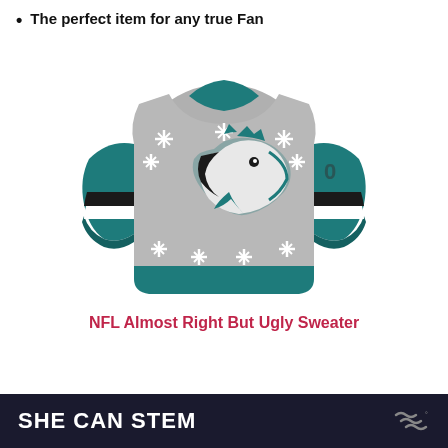The perfect item for any true Fan
[Figure (photo): Philadelphia Eagles NFL ugly Christmas sweater in gray and teal with snowflake patterns and large Eagles logo on the front]
NFL Almost Right But Ugly Sweater
SHE CAN STEM